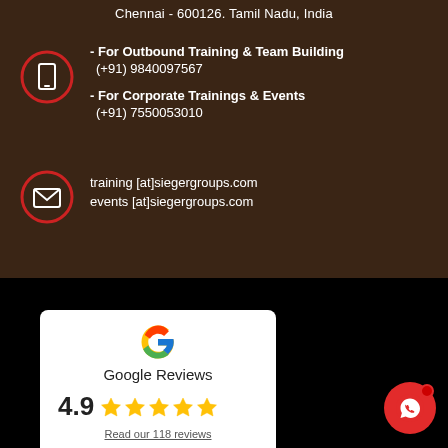Chennai - 600126. Tamil Nadu, India
- For Outbound Training & Team Building
(+91) 9840097567
- For Corporate Trainings & Events
(+91) 7550053010
training [at]siegergroups.com
events [at]siegergroups.com
CORPORATE TEAM OUTING PLACES
[Figure (logo): Google Reviews popup with Google G logo, rating 4.9 with 5 gold stars, and link 'Read our 118 reviews']
[Figure (logo): WhatsApp button - red circle with white WhatsApp icon]